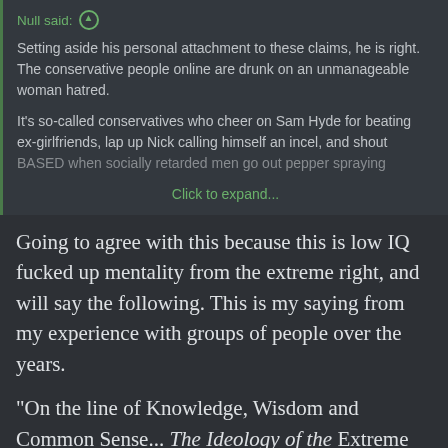Null said: ↑
Setting aside his personal attachment to these claims, he is right. The conservative people online are drunk on an unmanageable woman hatred.
It's so-called conservatives who cheer on Sam Hyde for beating ex-girlfriends, lap up Nick calling himself an incel, and shout BASED when socially retarded men go out pepper spraying
Click to expand...
Going to agree with this because this is low IQ fucked up mentality from the extreme right, and will say the following. This is my saying from my experience with groups of people over the years.
"On the line of Knowledge, Wisdom and Common Sense... The Ideology of the Extreme Left and the Extreme Right are on the opposite ends.
But if you take that line and bend into a circle, you will find they, the core of their mindset of both ideologies